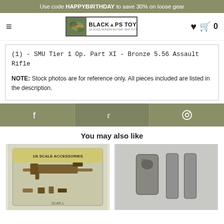Use code HAPPYBIRTHDAY to save 30% on loose gear
[Figure (logo): Black Ops Toys logo with camo icon - 1/6 Scale Modern Military War Toys]
(1) - SMU Tier 1 Op. Part XI - Bronze 5.56 Assault Rifle
NOTE: Stock photos are for reference only. All pieces included are listed in the description.
[Figure (infographic): Social share bar with Facebook, Twitter, and Pinterest icons on olive/khaki background]
You may also like
[Figure (photo): Product thumbnail: packaged 1/6 scale SCAR-L assault rifle toy set in blister packaging]
[Figure (photo): Product thumbnail: 1/6 scale pistol holster and magazine accessories on gray background]